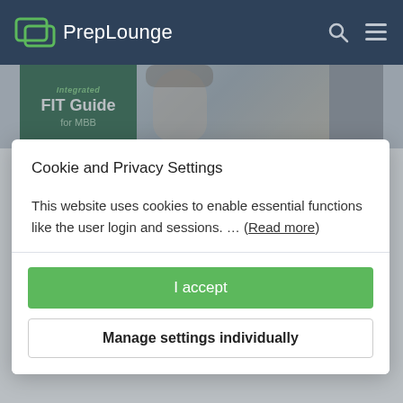PrepLounge
[Figure (screenshot): Background showing PrepLounge webpage with Integrated FIT Guide for MBB book cover (dark green) and a smiling woman photo]
Cookie and Privacy Settings
This website uses cookies to enable essential functions like the user login and sessions. ... (Read more)
I accept
Manage settings individually